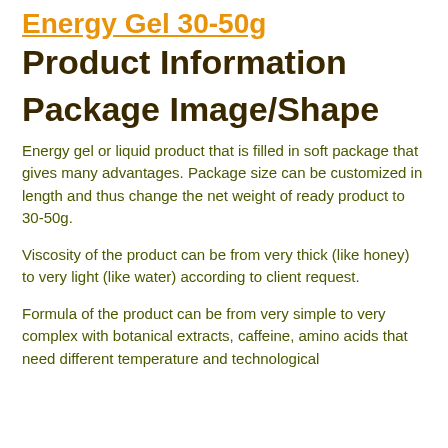Energy Gel 30-50g
Product Information
Package Image/Shape
Energy gel or liquid product that is filled in soft package that gives many advantages. Package size can be customized in length and thus change the net weight of ready product to 30-50g.
Viscosity of the product can be from very thick (like honey) to very light (like water) according to client request.
Formula of the product can be from very simple to very complex with botanical extracts, caffeine, amino acids that need different temperature and technological